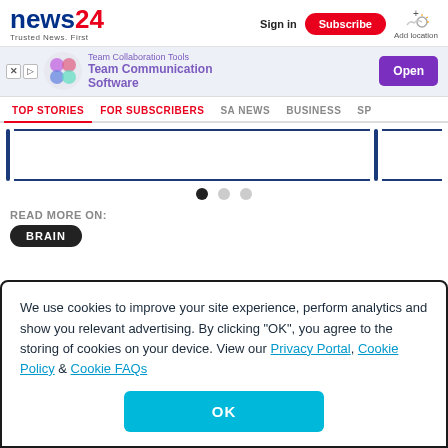news24 - Trusted News. First | Sign in | Subscribe | Add location
[Figure (screenshot): Advertisement banner for Team Collaboration Tools - Team Communication Software with Open button]
TOP STORIES | FOR SUBSCRIBERS | SA NEWS | BUSINESS | SP...
[Figure (other): Article carousel with blue vertical bars and navigation dots]
READ MORE ON:
BRAIN
We use cookies to improve your site experience, perform analytics and show you relevant advertising. By clicking "OK", you agree to the storing of cookies on your device. View our Privacy Portal, Cookie Policy & Cookie FAQs